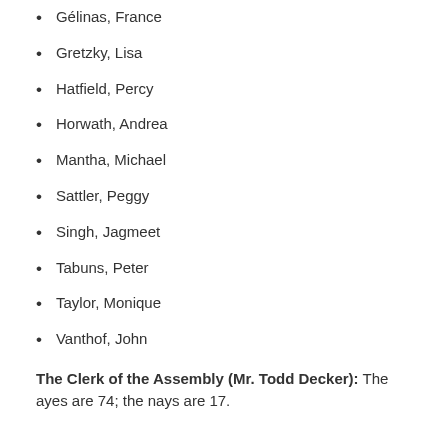Gélinas, France
Gretzky, Lisa
Hatfield, Percy
Horwath, Andrea
Mantha, Michael
Sattler, Peggy
Singh, Jagmeet
Tabuns, Peter
Taylor, Monique
Vanthof, John
The Clerk of the Assembly (Mr. Todd Decker): The ayes are 74; the nays are 17.